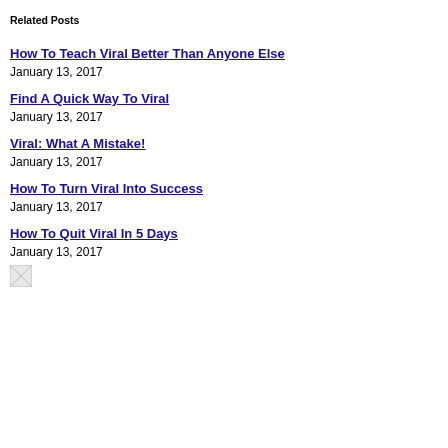Related Posts
How To Teach Viral Better Than Anyone Else
January 13, 2017
Find A Quick Way To Viral
January 13, 2017
Viral: What A Mistake!
January 13, 2017
How To Turn Viral Into Success
January 13, 2017
How To Quit Viral In 5 Days
January 13, 2017
[Figure (illustration): Broken image placeholder icon]